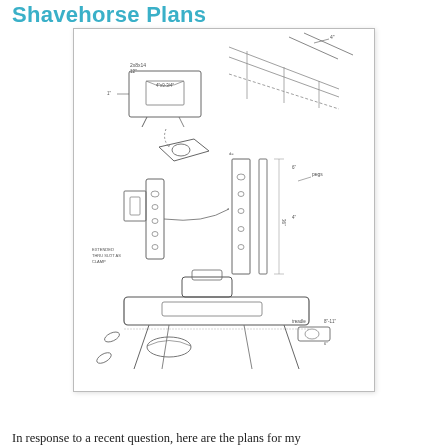Shavehorse Plans
[Figure (engineering-diagram): Exploded view technical hand-drawn diagram of a shavehorse (woodworking tool), showing labeled parts including the seat/body, adjustable clamp mechanism, legs, pivot components, and treadle foot pedal. Various dimensions and annotations are hand-written throughout the drawing.]
In response to a recent question, here are the plans for my